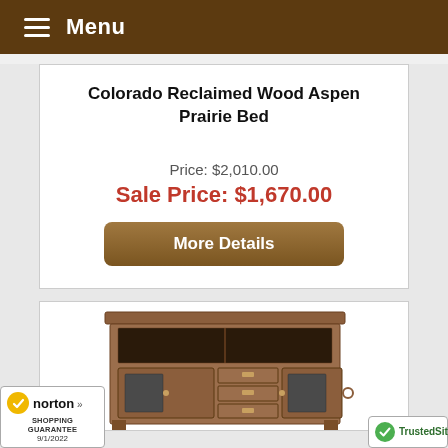Menu
Colorado Reclaimed Wood Aspen Prairie Bed
Price: $2,010.00
Sale Price: $1,670.00
More Details
[Figure (photo): Partial view of a rustic wooden TV console/media cabinet with open shelves, drawers, and slate tile door panels]
[Figure (logo): Norton Shopping Guarantee badge with checkmark, dated 9/1/2022]
[Figure (logo): TrustedSite badge with green checkmark]